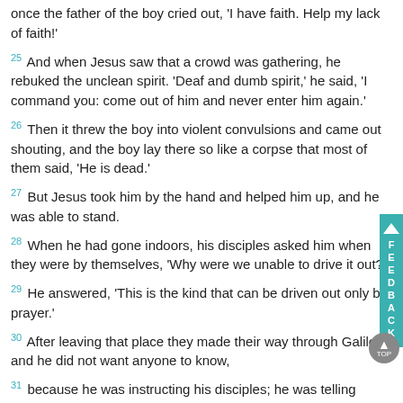once the father of the boy cried out, 'I have faith. Help my lack of faith!'
25 And when Jesus saw that a crowd was gathering, he rebuked the unclean spirit. 'Deaf and dumb spirit,' he said, 'I command you: come out of him and never enter him again.'
26 Then it threw the boy into violent convulsions and came out shouting, and the boy lay there so like a corpse that most of them said, 'He is dead.'
27 But Jesus took him by the hand and helped him up, and he was able to stand.
28 When he had gone indoors, his disciples asked him when they were by themselves, 'Why were we unable to drive it out?'
29 He answered, 'This is the kind that can be driven out only by prayer.'
30 After leaving that place they made their way through Galilee; and he did not want anyone to know,
31 because he was instructing his disciples; he was telling them, 'The Son of man will be delivered into the power of men; they will put him to death; and three days after he has been put to death he will rise again.'